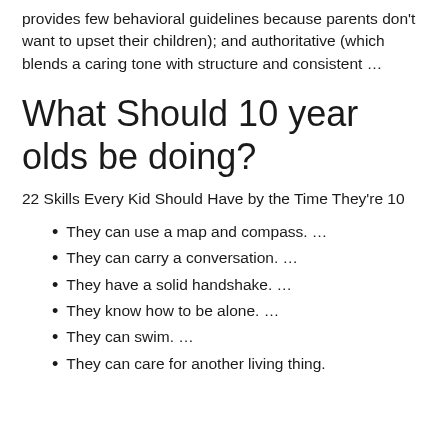provides few behavioral guidelines because parents don't want to upset their children); and authoritative (which blends a caring tone with structure and consistent …
What Should 10 year olds be doing?
22 Skills Every Kid Should Have by the Time They're 10
They can use a map and compass. …
They can carry a conversation. …
They have a solid handshake. …
They know how to be alone. …
They can swim. …
They can care for another living thing.